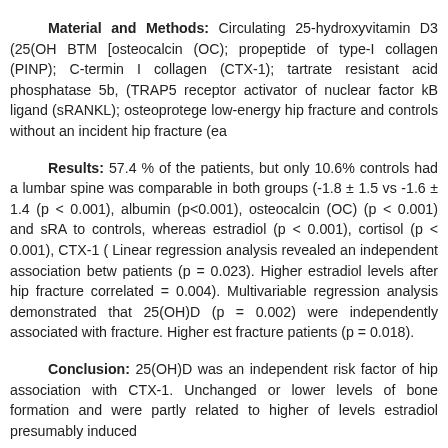Material and Methods: Circulating 25-hydroxyvitamin D3 (25(OH BTM [osteocalcin (OC); propeptide of type-I collagen (PINP); C-termin I collagen (CTX-1); tartrate resistant acid phosphatase 5b, (TRAP5 receptor activator of nuclear factor kB ligand (sRANKL); osteoprotege low-energy hip fracture and controls without an incident hip fracture (ea
Results: 57.4 % of the patients, but only 10.6% controls had a lumbar spine was comparable in both groups (-1.8 ± 1.5 vs -1.6 ± 1.4 (p < 0.001), albumin (p<0.001), osteocalcin (OC) (p < 0.001) and sRA to controls, whereas estradiol (p < 0.001), cortisol (p < 0.001), CTX-1 ( Linear regression analysis revealed an independent association betw patients (p = 0.023). Higher estradiol levels after hip fracture correlated = 0.004). Multivariable regression analysis demonstrated that 25(OH)D (p = 0.002) were independently associated with fracture. Higher est fracture patients (p = 0.018).
Conclusion: 25(OH)D was an independent risk factor of hip association with CTX-1. Unchanged or lower levels of bone formation and were partly related to higher of levels estradiol presumably induced